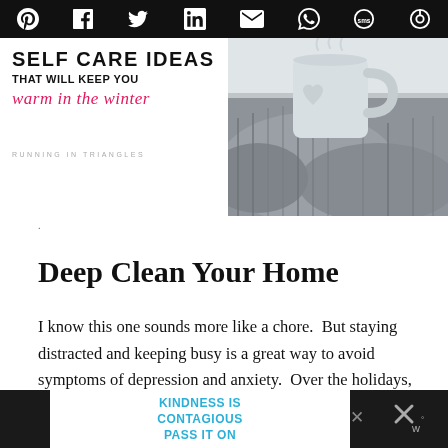Social share icons: Pinterest, Facebook, Twitter, LinkedIn, Email, WhatsApp, SMS, Other
[Figure (illustration): Self Care Ideas blog banner with cozy mug and blanket photo. Text: SELF CARE IDEAS THAT WILL KEEP YOU warm in the winter. RUNNING IN TRIANGLES]
Deep Clean Your Home
I know this one sounds more like a chore.  But staying distracted and keeping busy is a great way to avoid symptoms of depression and anxiety.  Over the holidays, you've likely
KINDNESS IS CONTAGIOUS PASS IT ON